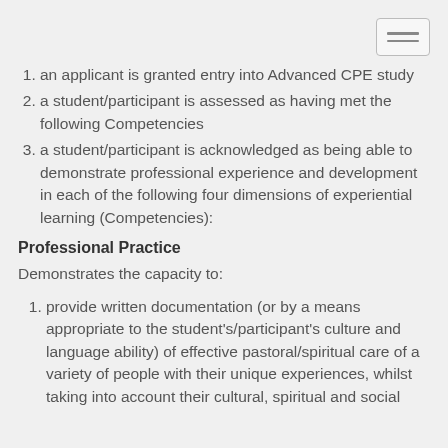an applicant is granted entry into Advanced CPE study
a student/participant is assessed as having met the following Competencies
a student/participant is acknowledged as being able to demonstrate professional experience and development in each of the following four dimensions of experiential learning (Competencies):
Professional Practice
Demonstrates the capacity to:
provide written documentation (or by a means appropriate to the student's/participant's culture and language ability) of effective pastoral/spiritual care of a variety of people with their unique experiences, whilst taking into account their cultural, spiritual and social